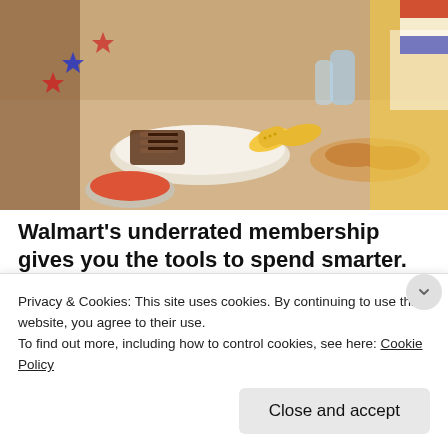[Figure (photo): Food spread on a table with grilled meats, corn, condiments, colorful decorations — outdoor BBQ/cookout setting]
Walmart's underrated membership gives you the tools to spend smarter.
Real Simple
[Figure (photo): Woman with blonde hair looking to the side, appears to be a movie still]
'Call Jane' Trailer: Timely Abortion Drama Starring Elizabeth Banks, Wunmi Mosaku And More
Shadow and Act
Privacy & Cookies: This site uses cookies. By continuing to use this website, you agree to their use.
To find out more, including how to control cookies, see here: Cookie Policy
Close and accept